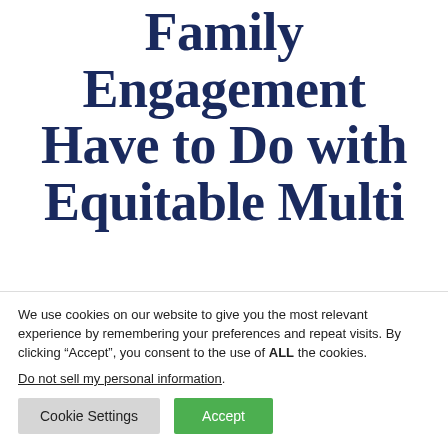Family Engagement Have to Do with Equitable Multi
We use cookies on our website to give you the most relevant experience by remembering your preferences and repeat visits. By clicking “Accept”, you consent to the use of ALL the cookies.
Do not sell my personal information.